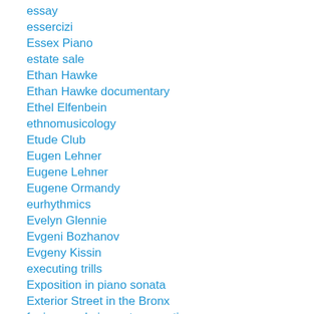essay
essercizi
Essex Piano
estate sale
Ethan Hawke
Ethan Hawke documentary
Ethel Elfenbein
ethnomusicology
Etude Club
Eugen Lehner
Eugene Lehner
Eugene Ormandy
eurhythmics
Evelyn Glennie
Evgeni Bozhanov
Evgeny Kissin
executing trills
Exposition in piano sonata
Exterior Street in the Bronx
f minor scale in contrary motion